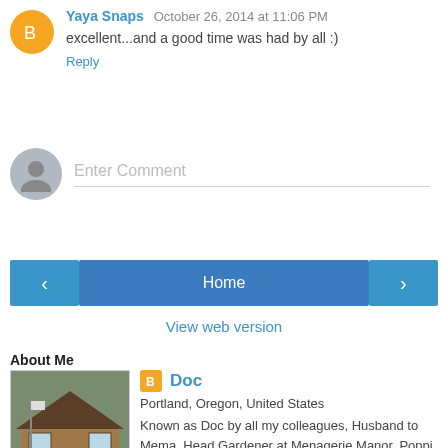Yaya Snaps October 26, 2014 at 11:06 PM
excellent...and a good time was had by all :)
Reply
Enter Comment
Home
View web version
About Me
Doc
Portland, Oregon, United States
Known as Doc by all my colleagues, Husband to Mema, Head Gardener at Menagerie Manor, Poppi to "The Little Terrorists". We have lived in our 1916 home for 30+ years. I live to garden, take care of our many animals and love my wife, two sons and their families.